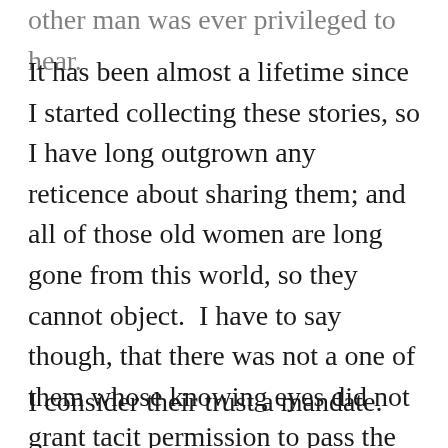other man was ever privileged to hear.
It has been almost a lifetime since I started collecting these stories, so I have long outgrown any reticence about sharing them; and all of those old women are long gone from this world, so they cannot object.  I have to say though, that there was not a one of them whose knowing eyes did not grant tacit permission to pass the tales to their great-grandchildren if the time ever came ripe.
I consider their trust a mandate.